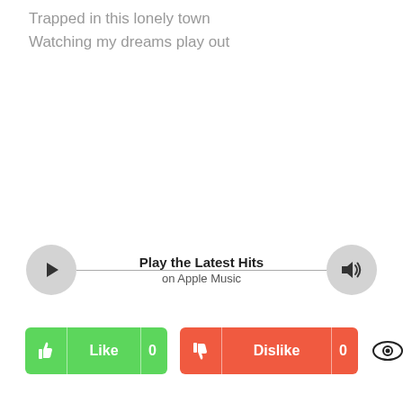Trapped in this lonely town
Watching my dreams play out
[Figure (other): Music player bar with play button on left, speaker/volume button on right, horizontal line connecting them, centered text 'Play the Latest Hits' and 'on Apple Music']
[Figure (other): Like button (green, count 0), Dislike button (red/orange, count 0), and eye/views icon with count 19]